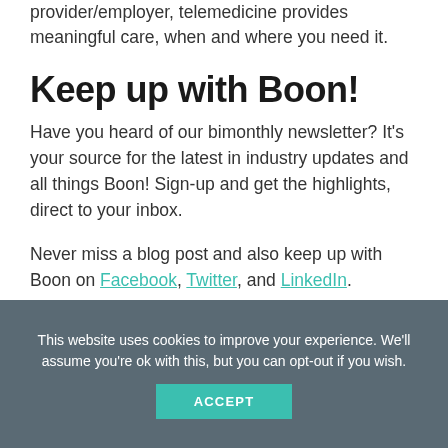provider/employer, telemedicine provides meaningful care, when and where you need it.
Keep up with Boon!
Have you heard of our bimonthly newsletter? It's your source for the latest in industry updates and all things Boon! Sign-up and get the highlights, direct to your inbox.
Never miss a blog post and also keep up with Boon on Facebook, Twitter, and LinkedIn.
This website uses cookies to improve your experience. We'll assume you're ok with this, but you can opt-out if you wish.